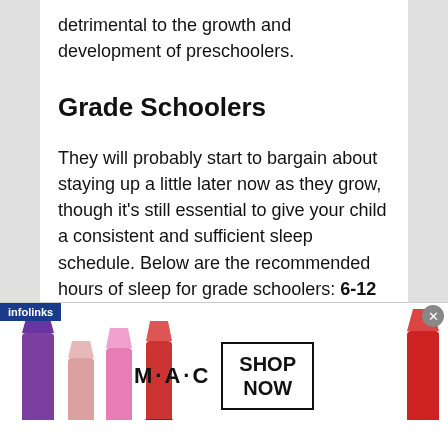detrimental to the growth and development of preschoolers.
Grade Schoolers
They will probably start to bargain about staying up a little later now as they grow, though it's still essential to give your child a consistent and sufficient sleep schedule. Below are the recommended hours of sleep for grade schoolers: 6-12 years: 9-12 hours Not recommended: Sleep less than 8 hours can affect the quality of grade schooler's productivity and learning.
[Figure (photo): MAC cosmetics advertisement banner showing lipsticks in purple, pink and red colors with MAC logo and SHOP NOW button]